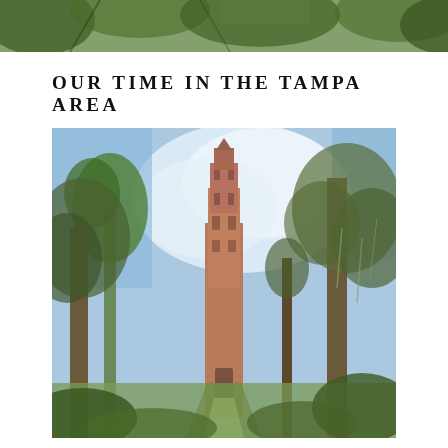[Figure (photo): Top strip photo showing palm trees and tropical foliage against sky, partial view cropped at top of page]
OUR TIME IN THE TAMPA AREA
[Figure (photo): Photograph of Bok Tower (a tall Gothic/Art Deco carillon tower in pink/red brick) rising above lush trees including palms and live oaks with Spanish moss, set in a garden landscape with a reflective path or water feature leading to the tower base, blue sky with clouds in background]